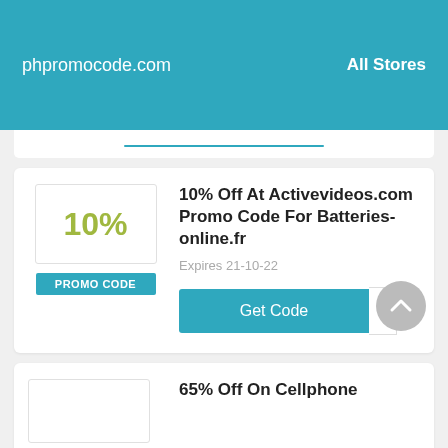phpromocode.com    All Stores
10% Off At Activevideos.com Promo Code For Batteries-online.fr
PROMO CODE
Expires 21-10-22
Get Code   2
65% Off On Cellphone